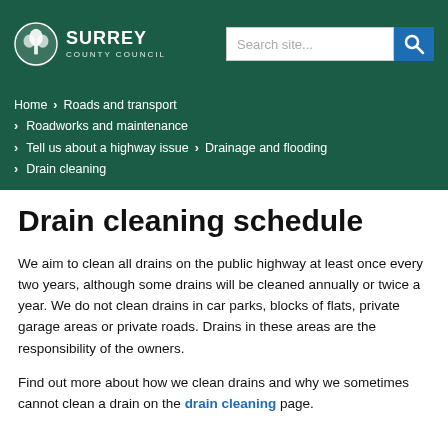Surrey County Council — Search site...
Home > Roads and transport
> Roadworks and maintenance
> Tell us about a highway issue > Drainage and flooding
> Drain cleaning
Drain cleaning schedule
We aim to clean all drains on the public highway at least once every two years, although some drains will be cleaned annually or twice a year. We do not clean drains in car parks, blocks of flats, private garage areas or private roads. Drains in these areas are the responsibility of the owners.
Find out more about how we clean drains and why we sometimes cannot clean a drain on the drain cleaning page.